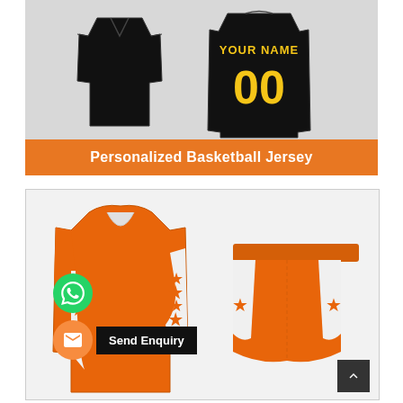[Figure (photo): Two black basketball jerseys shown front and back, with yellow text 'YOUR NAME' and '00' on the back jersey]
Personalized Basketball Jersey
[Figure (photo): Orange and white basketball jersey and matching shorts with star pattern, with WhatsApp button, email button, and Send Enquiry label overlay]